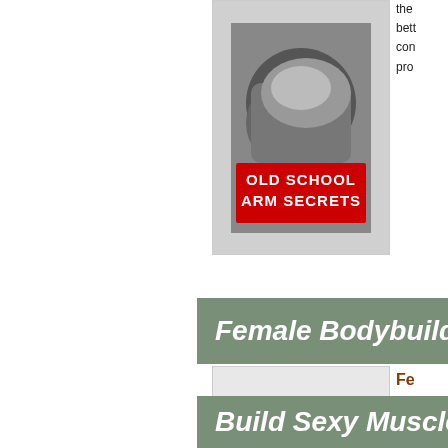[Figure (illustration): Book cover for 'Old School Arm Secrets' showing muscular arms in black and white with red text overlay, displayed in a white bordered box at top center]
Female Bodybuilding Sec...
[Figure (illustration): Book cover for 'Iron Dolls: Female Bodybuilding Secrets Revealed!' showing a red book with yellow text and a female bodybuilder on the cover, displayed in a white bordered box]
Iron... for W... Tra...
Build Sexy Muscle Natur...